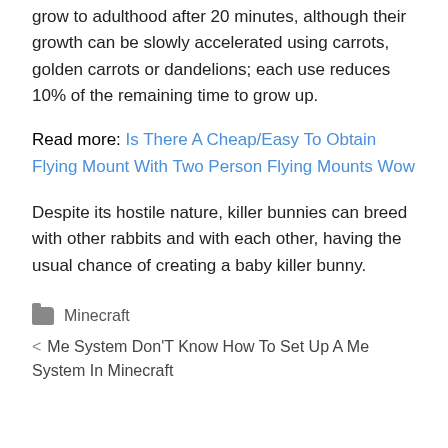grow to adulthood after 20 minutes, although their growth can be slowly accelerated using carrots, golden carrots or dandelions; each use reduces 10% of the remaining time to grow up.
Read more: Is There A Cheap/Easy To Obtain Flying Mount With Two Person Flying Mounts Wow
Despite its hostile nature, killer bunnies can breed with other rabbits and with each other, having the usual chance of creating a baby killer bunny.
Minecraft
< Me System Don'T Know How To Set Up A Me System In Minecraft